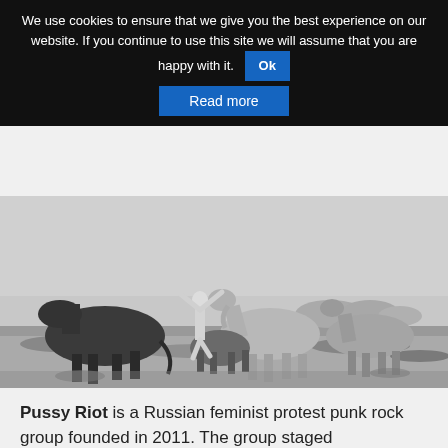We use cookies to ensure that we give you the best experience on our website. If you continue to use this site we will assume that you are happy with it. Ok
Read more
[Figure (photo): Black and white photograph of a person with arms raised standing among several horses in an open field or moorland landscape.]
Pussy Riot is a Russian feminist protest punk rock group founded in 2011. The group staged unauthorised performances in unusual public places, such as the Red